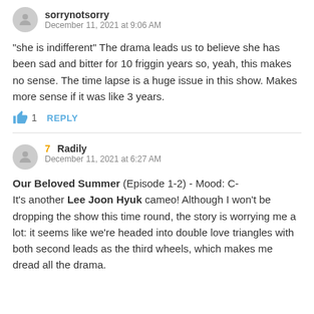sorrynotsorry
December 11, 2021 at 9:06 AM
"she is indifferent" The drama leads us to believe she has been sad and bitter for 10 friggin years so, yeah, this makes no sense. The time lapse is a huge issue in this show. Makes more sense if it was like 3 years.
1  REPLY
7  Radily
December 11, 2021 at 6:27 AM
Our Beloved Summer (Episode 1-2) - Mood: C-
It's another Lee Joon Hyuk cameo! Although I won't be dropping the show this time round, the story is worrying me a lot: it seems like we're headed into double love triangles with both second leads as the third wheels, which makes me dread all the drama.